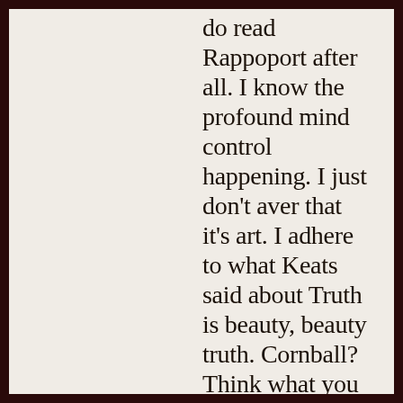do read Rappoport after all. I know the profound mind control happening. I just don't aver that it's art. I adhere to what Keats said about Truth is beauty, beauty truth. Cornball? Think what you will. And recall what De Kooning